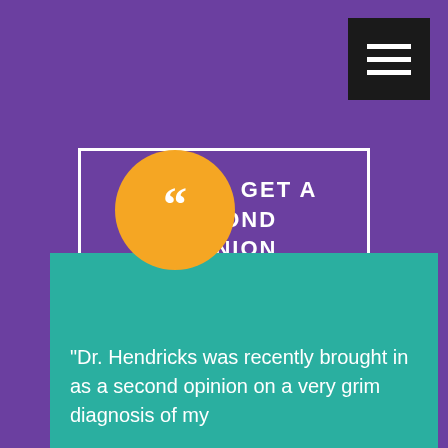HOW TO GET A SECOND OPINION
“Dr. Hendricks was recently brought in as a second opinion on a very grim diagnosis of my